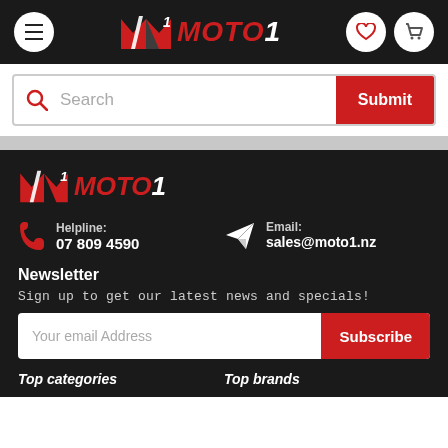[Figure (logo): MOTO1 logo in header - red M1 emblem with italic MOTO1 text]
Search
Submit
[Figure (logo): MOTO1 logo in footer - red M1 emblem with italic MOTO1 text]
Helpline:
07 809 4590
Email:
sales@moto1.nz
Newsletter
Sign up to get our latest news and specials!
Your email Address
Subscribe
Top categories
Top brands